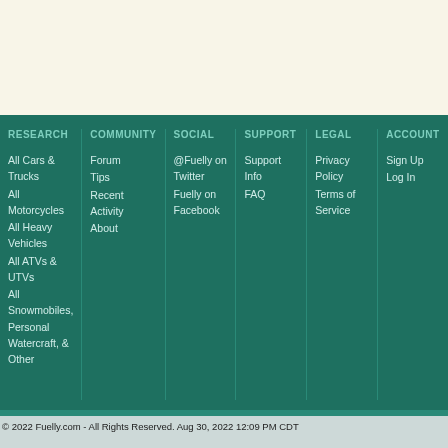RESEARCH
All Cars & Trucks
All Motorcycles
All Heavy Vehicles
All ATVs & UTVs
All Snowmobiles, Personal Watercraft, & Other
COMMUNITY
Forum
Tips
Recent Activity
About
SOCIAL
@Fuelly on Twitter
Fuelly on Facebook
SUPPORT
Support Info
FAQ
LEGAL
Privacy Policy
Terms of Service
ACCOUNT
Sign Up
Log In
© 2022 Fuelly.com - All Rights Reserved. Aug 30, 2022 12:09 PM CDT